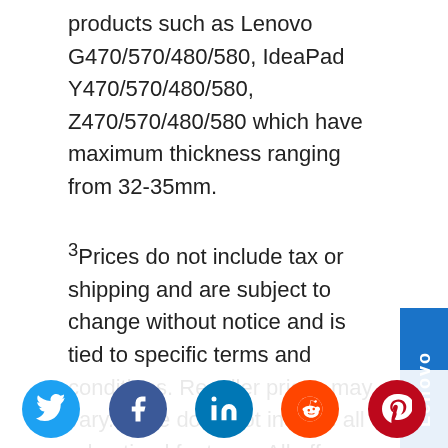products such as Lenovo G470/570/480/580, IdeaPad Y470/570/480/580, Z470/570/480/580 which have maximum thickness ranging from 32-35mm.
3Prices do not include tax or shipping and are subject to change without notice and is tied to specific terms and conditions. Reseller prices may vary. Price does not include all advertised features. All offers subject to availability. Lenovo reserves the right to alter product offerings and specifications at any time, without notice.
[Figure (logo): Lenovo vertical sidebar logo in blue]